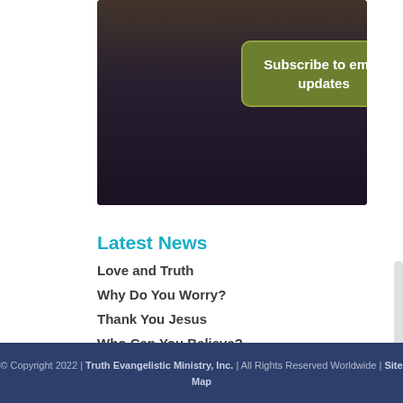[Figure (photo): Dark photograph of people (silhouettes) with a green rounded-rectangle button overlay reading 'Subscribe to email updates']
Latest News
Love and Truth
Why Do You Worry?
Thank You Jesus
Who Can You Believe?
Sing from the Spirit
© Copyright 2022 | Truth Evangelistic Ministry, Inc. | All Rights Reserved Worldwide | Site Map